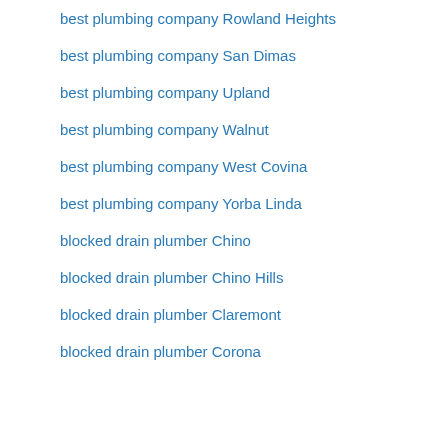best plumbing company Rowland Heights
best plumbing company San Dimas
best plumbing company Upland
best plumbing company Walnut
best plumbing company West Covina
best plumbing company Yorba Linda
blocked drain plumber Chino
blocked drain plumber Chino Hills
blocked drain plumber Claremont
blocked drain plumber Corona